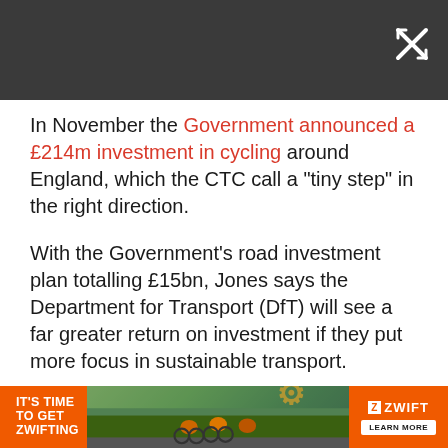[Figure (screenshot): Dark grey top navigation bar with a close/fullscreen button (X icon with arrows) in the top right corner]
In November the Government announced a £214m investment in cycling around England, which the CTC call a “tiny step” in the right direction.
With the Government’s road investment plan totalling £15bn, Jones says the Department for Transport (DfT) will see a far greater return on investment if they put more focus in sustainable transport.
“The Government funding was only dedicated to the nine cycling cities, so what about the rest of the country?” Jones continued. “It’s all very well getting people cycling in nine cities cycling more but where’s the benefit for everyone else?
[Figure (infographic): Zwift advertisement banner: orange background with white bold text 'IT'S TIME TO GET ZWIFTING', central image of cyclists on a road, and Zwift logo with 'LEARN MORE' button on the right]